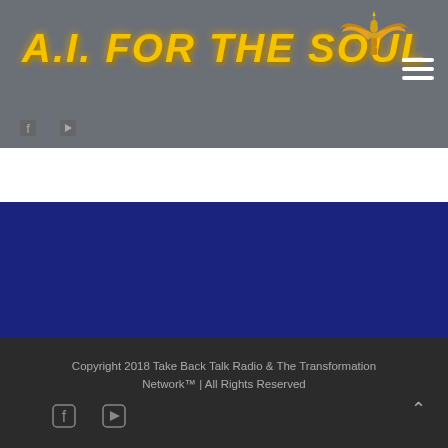[Figure (logo): A.I. FOR THE SOUL logo with golden italic bold text and a golden winged figure above, on a gray background with a hamburger menu icon]
[Figure (illustration): Two small social media icons (Facebook, another) at the bottom left of the gray header bar]
[Figure (illustration): Dark navy blue rectangular content area]
Copyright 2018 Take Back Talk Radio & The Transformation Network™ | All Rights Reserved